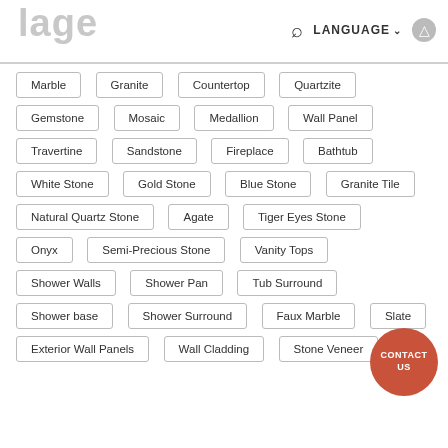lage
Marble
Granite
Countertop
Quartzite
Gemstone
Mosaic
Medallion
Wall Panel
Travertine
Sandstone
Fireplace
Bathtub
White Stone
Gold Stone
Blue Stone
Granite Tile
Natural Quartz Stone
Agate
Tiger Eyes Stone
Onyx
Semi-Precious Stone
Vanity Tops
Shower Walls
Shower Pan
Tub Surround
Shower base
Shower Surround
Faux Marble
Slate
Exterior Wall Panels
Wall Cladding
Stone Veneer